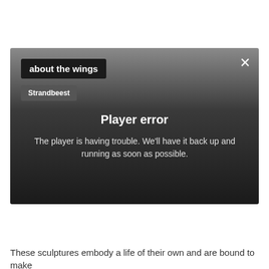[Figure (screenshot): Video player error overlay with dark gradient background. Shows title 'about the wings' in a dark button, 'Strandbeest' in a grey button, a close X button, and a player error message saying 'Player error - The player is having trouble. We'll have it back up and running as soon as possible.']
These sculptures embody a life of their own and are bound to make